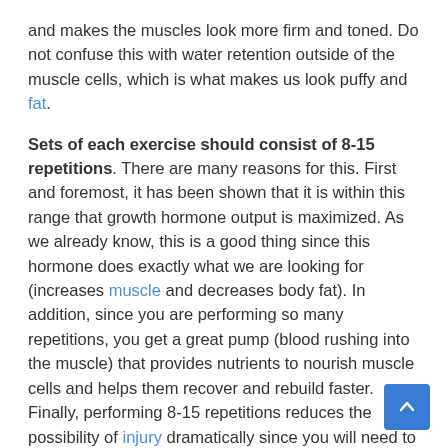and makes the muscles look more firm and toned. Do not confuse this with water retention outside of the muscle cells, which is what makes us look puffy and fat.
Sets of each exercise should consist of 8-15 repetitions. There are many reasons for this. First and foremost, it has been shown that it is within this range that growth hormone output is maximized. As we already know, this is a good thing since this hormone does exactly what we are looking for (increases muscle and decreases body fat). In addition, since you are performing so many repetitions, you get a great pump (blood rushing into the muscle) that provides nutrients to nourish muscle cells and helps them recover and rebuild faster. Finally, performing 8-15 repetitions reduces the possibility of injury dramatically since you will need to use a weight that you can control in order to perform the prescribed amount of reps. (Notes: This rule does not apply to the calves and abdominals as these muscles usually respond better to higher repetition ranges, in the